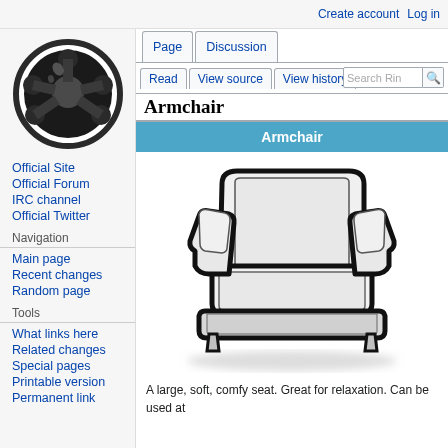Create account   Log in
[Figure (logo): Wiki site logo: black star/badge shape inside a circle on white background]
Official Site
Official Forum
IRC channel
Official Twitter
Navigation
Main page
Recent changes
Random page
Tools
What links here
Related changes
Special pages
Printable version
Permanent link
Armchair
[Figure (illustration): Illustration of a white/light grey padded armchair with thick arms and rounded cushions, viewed from a slight front-angle. Bold black outline around the chair shape.]
A large, soft, comfy seat. Great for relaxation. Can be used at